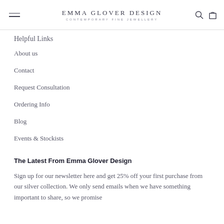EMMA GLOVER DESIGN · CONTEMPORARY FINE JEWELLERY
Helpful Links
About us
Contact
Request Consultation
Ordering Info
Blog
Events & Stockists
The Latest From Emma Glover Design
Sign up for our newsletter here and get 25% off your first purchase from our silver collection. We only send emails when we have something important to share, so we promise